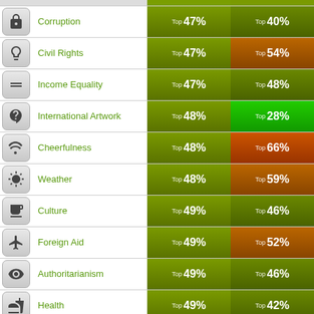| Icon | Category | Col1 | Col2 |
| --- | --- | --- | --- |
| [lock] | Corruption | Top 47% | Top 40% |
| [peace] | Civil Rights | Top 47% | Top 54% |
| [equals] | Income Equality | Top 47% | Top 48% |
| [cards] | International Artwork | Top 48% | Top 28% |
| [thumbsup] | Cheerfulness | Top 48% | Top 66% |
| [sun] | Weather | Top 48% | Top 59% |
| [wine] | Culture | Top 49% | Top 46% |
| [plane] | Foreign Aid | Top 49% | Top 52% |
| [eye] | Authoritarianism | Top 49% | Top 46% |
| [apple] | Health | Top 49% | Top 42% |